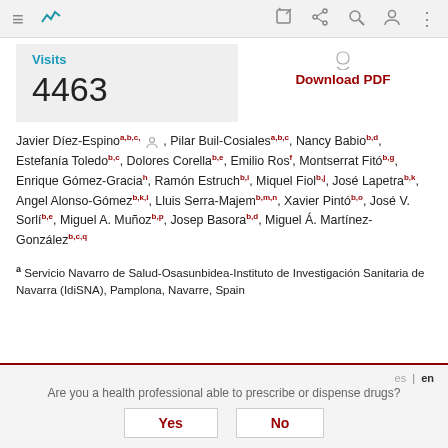Toolbar with navigation icons
Visits
4463
Download PDF
Javier Díez-Espino a,b,c, Pilar Buil-Cosiales a,b,c, Nancy Babio b,d, Estefanía Toledo b,c, Dolores Corella b,e, Emilio Ros f, Montserrat Fitó b,g, Enrique Gómez-Gracia h, Ramón Estruch b,i, Miquel Fiol b,j, José Lapetra b,k, Angel Alonso-Gómez b,k,l, Lluis Serra-Majem b,m,n, Xavier Pintó b,o, José V. Sorlí b,e, Miguel A. Muñoz b,p, Josep Basora b,d, Miguel Á. Martínez-González b,c,q
a Servicio Navarro de Salud-Osasunbidea-Instituto de Investigación Sanitaria de Navarra (IdiSNA), Pamplona, Navarre, Spain
Are you a health professional able to prescribe or dispense drugs?
Yes   No